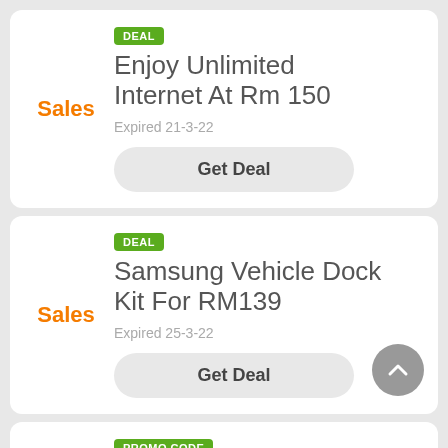Sales
DEAL
Enjoy Unlimited Internet At Rm 150
Expired 21-3-22
Get Deal
Sales
DEAL
Samsung Vehicle Dock Kit For RM139
Expired 25-3-22
Get Deal
PROMO CODE
Join Me On MyDigi, The